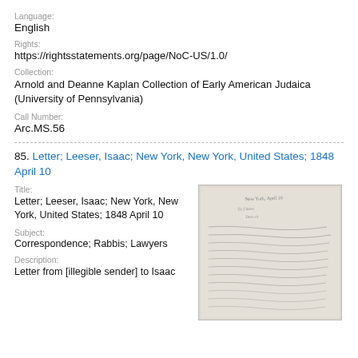Language:
English
Rights:
https://rightsstatements.org/page/NoC-US/1.0/
Collection:
Arnold and Deanne Kaplan Collection of Early American Judaica (University of Pennsylvania)
Call Number:
Arc.MS.56
85. Letter; Leeser, Isaac; New York, New York, United States; 1848 April 10
Title:
Letter; Leeser, Isaac; New York, New York, United States; 1848 April 10
Subject:
Correspondence; Rabbis; Lawyers
Description:
Letter from [illegible sender] to Isaac
[Figure (photo): Manuscript letter page with handwritten text in cursive script, aged/sepia toned paper]